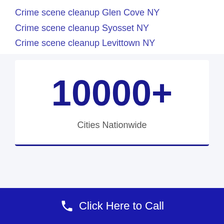Crime scene cleanup Glen Cove NY
Crime scene cleanup Syosset NY
Crime scene cleanup Levittown NY
10000+
Cities Nationwide
Click Here to Call